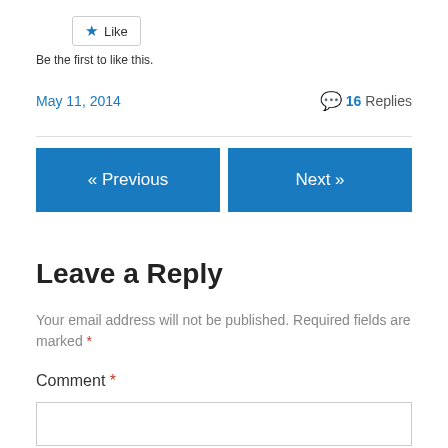[Figure (other): Like button with blue star icon]
Be the first to like this.
May 11, 2014   16 Replies
« Previous
Next »
Leave a Reply
Your email address will not be published. Required fields are marked *
Comment *